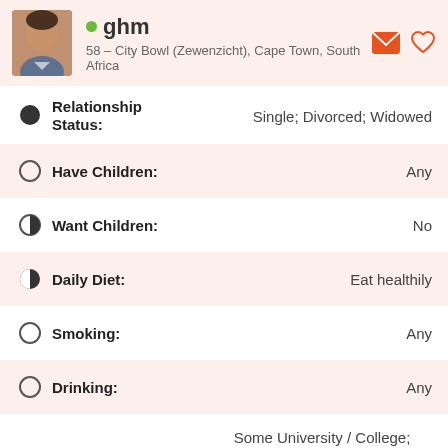ghm — 58 – City Bowl (Zewenzicht), Cape Town, South Africa
Relationship Status: Single; Divorced; Widowed
Have Children: Any
Want Children: No
Daily Diet: Eat healthily
Smoking: Any
Drinking: Any
Education: Some University / College; Technical Diploma; Bachelors degree